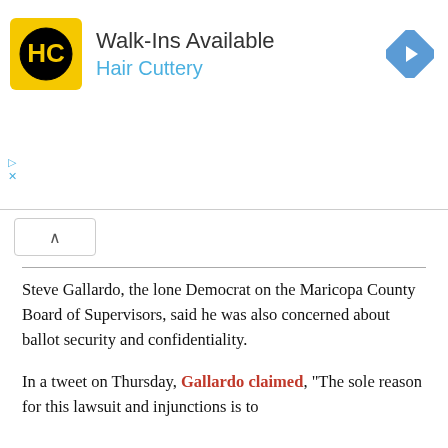[Figure (other): Hair Cuttery advertisement banner with yellow square HC logo, text 'Walk-Ins Available' and 'Hair Cuttery' in blue, and a blue diamond navigation icon on the right]
Steve Gallardo, the lone Democrat on the Maricopa County Board of Supervisors, said he was also concerned about ballot security and confidentiality.
In a tweet on Thursday, Gallardo claimed, “The sole reason for this lawsuit and injunctions is to